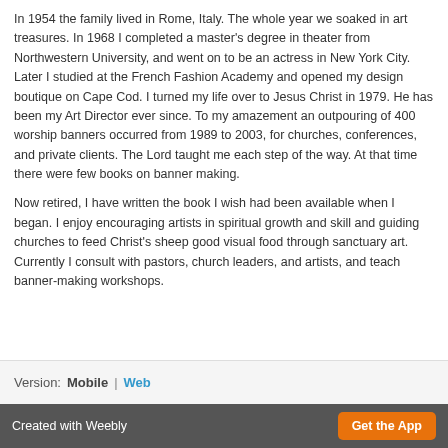In 1954 the family lived in Rome, Italy. The whole year we soaked in art treasures. In 1968 I completed a master's degree in theater from Northwestern University, and went on to be an actress in New York City. Later I studied at the French Fashion Academy and opened my design boutique on Cape Cod. I turned my life over to Jesus Christ in 1979. He has been my Art Director ever since. To my amazement an outpouring of 400 worship banners occurred from 1989 to 2003, for churches, conferences, and private clients. The Lord taught me each step of the way. At that time there were few books on banner making.
Now retired, I have written the book I wish had been available when I began. I enjoy encouraging artists in spiritual growth and skill and guiding churches to feed Christ's sheep good visual food through sanctuary art. Currently I consult with pastors, church leaders, and artists, and teach banner-making workshops.
Version: Mobile | Web
Created with Weebly  Get the App